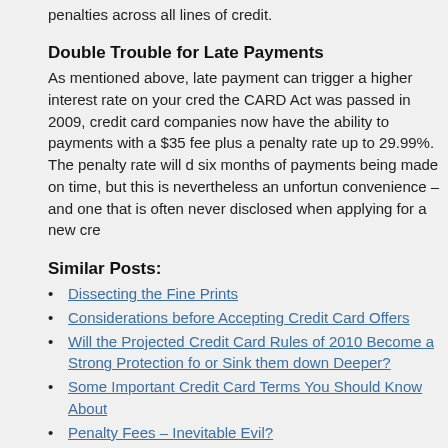penalties across all lines of credit.
Double Trouble for Late Payments
As mentioned above, late payment can trigger a higher interest rate on your credit card. Since the CARD Act was passed in 2009, credit card companies now have the ability to charge late payments with a $35 fee plus a penalty rate up to 29.99%. The penalty rate will drop after six months of payments being made on time, but this is nevertheless an unfortunate cost of convenience – and one that is often never disclosed when applying for a new credit card.
Similar Posts:
Dissecting the Fine Prints
Considerations before Accepting Credit Card Offers
Will the Projected Credit Card Rules of 2010 Become a Strong Protection for Consumers or Sink them down Deeper?
Some Important Credit Card Terms You Should Know About
Penalty Fees – Inevitable Evil?
Comments are closed.